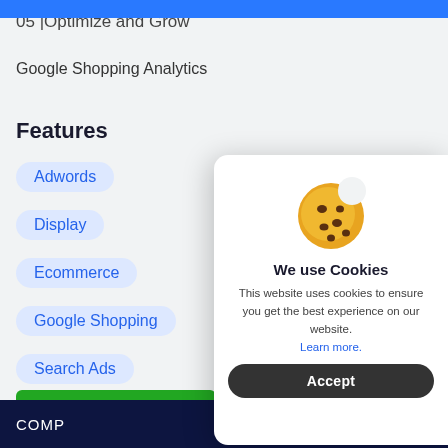05 |Optimize and Grow
Google Shopping Analytics
Features
Adwords
Display
Ecommerce
Google Shopping
Search Ads
[Figure (illustration): Cookie emoji: a round chocolate chip cookie with a bite taken out of the top right]
We use Cookies
This website uses cookies to ensure you get the best experience on our website.
Learn more.
Accept
Visi
COMP